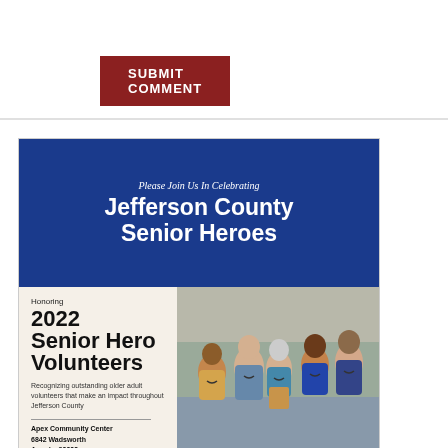SUBMIT COMMENT
[Figure (photo): Jefferson County Senior Heroes flyer showing a group of smiling volunteers of diverse ages and ethnicities in a warehouse/community setting. Blue header with event title, cream lower section with event details.]
Please Join Us In Celebrating Jefferson County Senior Heroes
Honoring 2022 Senior Hero Volunteers
Recognizing outstanding older adult volunteers that make an impact throughout Jefferson County
Apex Community Center 6842 Wadsworth
Hosted by: